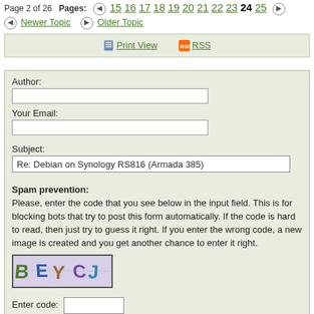Page 2 of 26 · Pages: 15 16 17 18 19 20 21 22 23 24 25
Newer Topic   Older Topic
Print View   RSS
Author:
Your Email:
Subject:
Re: Debian on Synology RS816 (Armada 385)
Spam prevention: Please, enter the code that you see below in the input field. This is for blocking bots that try to post this form automatically. If the code is hard to read, then just try to guess it right. If you enter the wrong code, a new image is created and you get another chance to enter it right.
[Figure (other): CAPTCHA image showing letters B E Y C J]
Enter code: